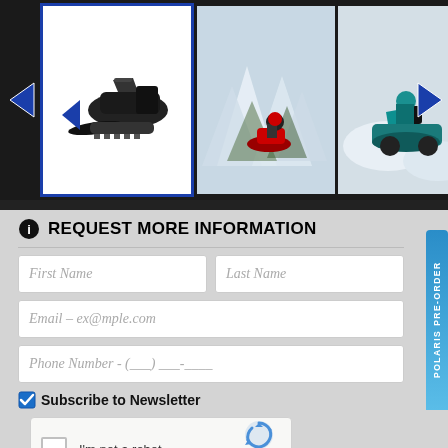[Figure (photo): Image gallery strip showing three snowmobile images: first is a selected thumbnail with blue border showing a black snowmobile on white background, second shows a rider on a red snowmobile in snowy trees, third shows a rider on a teal/black snowmobile in snowy conditions. Left and right navigation arrows visible.]
REQUEST MORE INFORMATION
First Name
Last Name
Email - ex@mple.com
Phone Number - (___) ___-____
Subscribe to Newsletter
[Figure (other): reCAPTCHA widget with checkbox, 'I'm not a robot' label, and reCAPTCHA logo with Privacy and Terms links]